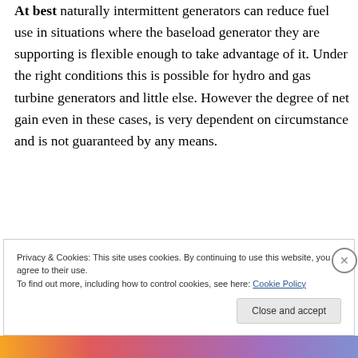At best naturally intermittent generators can reduce fuel use in situations where the baseload generator they are supporting is flexible enough to take advantage of it. Under the right conditions this is possible for hydro and gas turbine generators and little else. However the degree of net gain even in these cases, is very dependent on circumstance and is not guaranteed by any means.
Privacy & Cookies: This site uses cookies. By continuing to use this website, you agree to their use. To find out more, including how to control cookies, see here: Cookie Policy